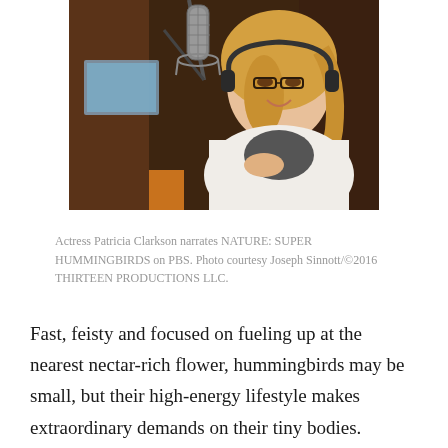[Figure (photo): Actress Patricia Clarkson sitting in a recording studio, smiling at camera, wearing headphones and a white cardigan, with a large condenser microphone in the foreground.]
Actress Patricia Clarkson narrates NATURE: SUPER HUMMINGBIRDS on PBS. Photo courtesy Joseph Sinnott/©2016 THIRTEEN PRODUCTIONS LLC.
Fast, feisty and focused on fueling up at the nearest nectar-rich flower, hummingbirds may be small, but their high-energy lifestyle makes extraordinary demands on their tiny bodies. Hence, their waking, sleep and feeding cycles are unique to the species and quite remarkable.